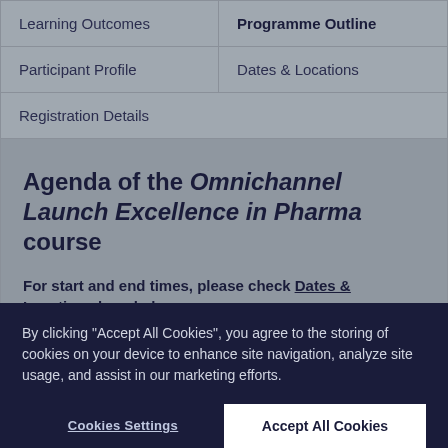| Learning Outcomes | Programme Outline |
| Participant Profile | Dates & Locations |
| Registration Details |  |
Agenda of the Omnichannel Launch Excellence in Pharma course
For start and end times, please check Dates & Locations here below.
By clicking "Accept All Cookies", you agree to the storing of cookies on your device to enhance site navigation, analyze site usage, and assist in our marketing efforts.
Cookies Settings | Accept All Cookies